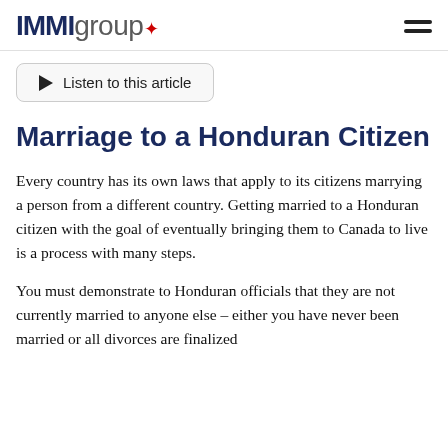IMMIgroup
Listen to this article
Marriage to a Honduran Citizen
Every country has its own laws that apply to its citizens marrying a person from a different country. Getting married to a Honduran citizen with the goal of eventually bringing them to Canada to live is a process with many steps.
You must demonstrate to Honduran officials that they are not currently married to anyone else – either you have never been married or all divorces are finalized